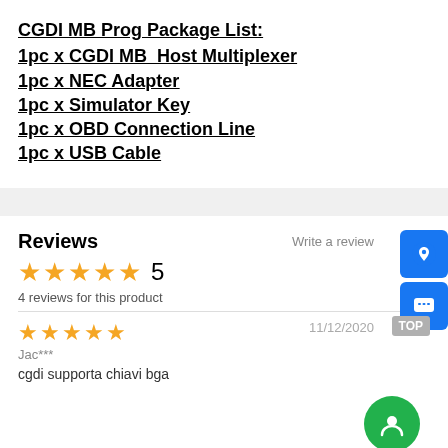CGDI MB Prog Package List:
1pc x CGDI MB  Host Multiplexer
1pc x NEC Adapter
1pc x Simulator Key
1pc x OBD Connection Line
1pc x USB Cable
Reviews
Write a review
5
4 reviews for this product
11/12/2020
Jac***
cgdi supporta chiavi bga
06/10/2020